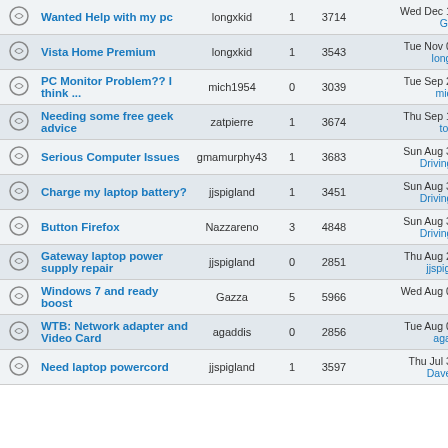|  | Topic | Author | Replies | Views | Last Post |
| --- | --- | --- | --- | --- | --- |
|  | Wanted Help with my pc | longxkid | 1 | 3714 | Wed Dec 16, 2009 Gazza → |
|  | Vista Home Premium | longxkid | 1 | 3543 | Tue Nov 03, 2009 longxkid → |
|  | PC Monitor Problem?? I think ... | mich1954 | 0 | 3039 | Tue Sep 22, 2009 mich1954 |
|  | Needing some free geek advice | zatpierre | 1 | 3674 | Thu Sep 10, 2009 tonto →D |
|  | Serious Computer Issues | gmamurphy43 | 1 | 3683 | Sun Aug 30, 2009 DrivingMania |
|  | Charge my laptop battery? | jjspigland | 1 | 3451 | Sun Aug 30, 2009 DrivingMania |
|  | Button Firefox | Nazzareno | 3 | 4848 | Sun Aug 30, 2009 DrivingMania |
|  | Gateway laptop power supply repair | jjspigland | 0 | 2851 | Thu Aug 27, 2009 jjspigland → |
|  | Windows 7 and ready boost | Gazza | 5 | 5966 | Wed Aug 05, 2009 fly →D |
|  | WTB: Network adapter and Video Card | agaddis | 0 | 2856 | Tue Aug 04, 2009 agaddis → |
|  | Need laptop powercord | jjspigland | 1 | 3597 | Thu Jul 30, 2009 DaveKlame |